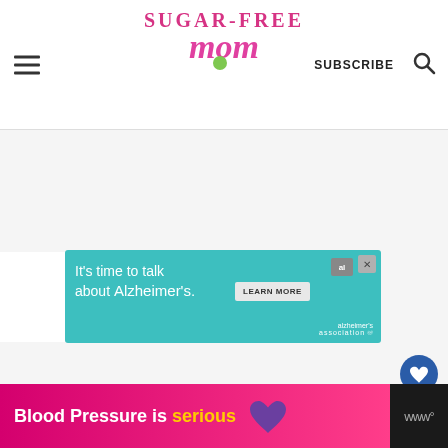SUGAR-FREE MOM | SUBSCRIBE
Directions
[Figure (infographic): Teal advertisement banner: 'It's time to talk about Alzheimer's.' with LEARN MORE button and Alzheimer's Association logo]
[Figure (infographic): Bottom pink/magenta advertisement banner: 'Blood Pressure is serious' with purple heart icon]
[Figure (infographic): Floating blue heart button with count '1' and share button on right side]